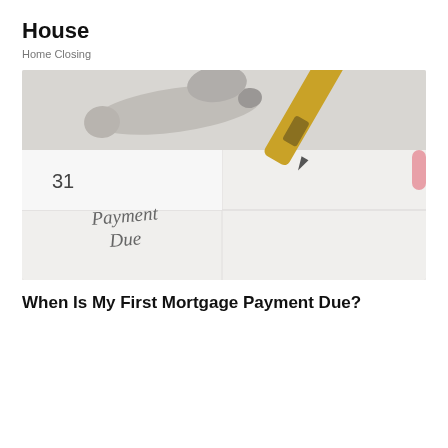House
Home Closing
[Figure (photo): Calendar showing day 31 with 'Payment Due' written in cursive, with two gold/silver pens resting on top of the calendar.]
When Is My First Mortgage Payment Due?